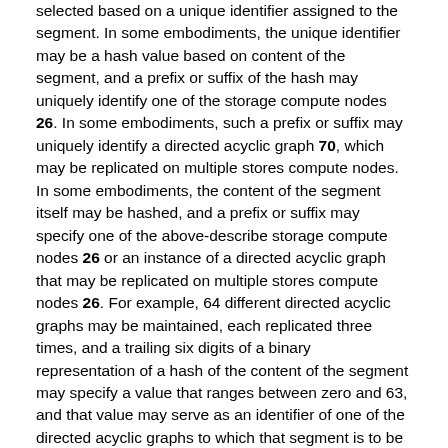selected based on a unique identifier assigned to the segment. In some embodiments, the unique identifier may be a hash value based on content of the segment, and a prefix or suffix of the hash may uniquely identify one of the storage compute nodes 26. In some embodiments, such a prefix or suffix may uniquely identify a directed acyclic graph 70, which may be replicated on multiple stores compute nodes. In some embodiments, the content of the segment itself may be hashed, and a prefix or suffix may specify one of the above-describe storage compute nodes 26 or an instance of a directed acyclic graph that may be replicated on multiple stores compute nodes 26. For example, 64 different directed acyclic graphs may be maintained, each replicated three times, and a trailing six digits of a binary representation of a hash of the content of the segment may specify a value that ranges between zero and 63, and that value may serve as an identifier of one of the directed acyclic graphs to which that segment is to be stored. In some embodiments, selecting a directed acyclic graph may cause one or more, such as three, computing devices to be selected, those being the computing devices that store and maintain the corresponding directed acyclic graph.